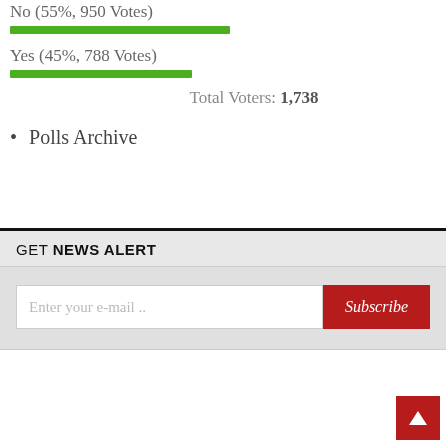No (55%, 950 Votes)
Yes (45%, 788 Votes)
Total Voters: 1,738
Polls Archive
GET NEWS ALERT
Enter your e-mail ..  Subscribe